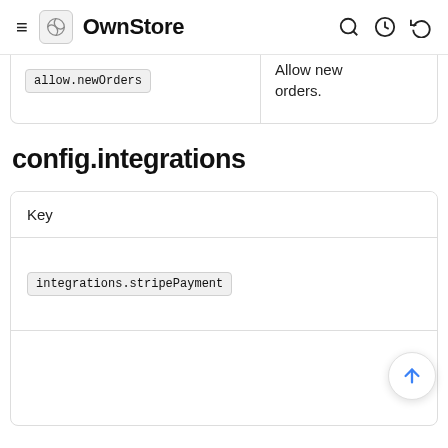OwnStore
| Key |  |
| --- | --- |
| allow.newOrders | Allow new orders. |
config.integrations
| Key |  |
| --- | --- |
| integrations.stripePayment |  |